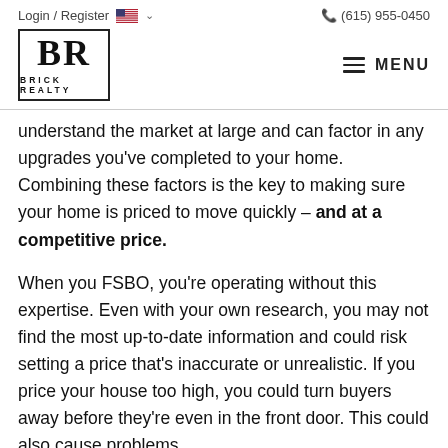Login / Register  (615) 955-0450
[Figure (logo): BR Brick Realty logo in a square border with MENU hamburger icon]
understand the market at large and can factor in any upgrades you've completed to your home. Combining these factors is the key to making sure your home is priced to move quickly – and at a competitive price.
When you FSBO, you're operating without this expertise. Even with your own research, you may not find the most up-to-date information and could risk setting a price that's inaccurate or unrealistic. If you price your house too high, you could turn buyers away before they're even in the front door. This could also cause problems